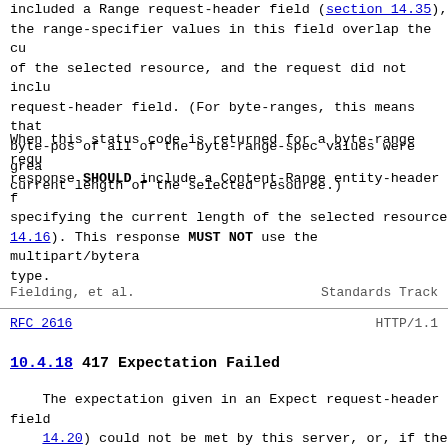included a Range request-header field (section 14.35), the range-specifier values in this field overlap the cu of the selected resource, and the request did not inclu request-header field. (For byte-ranges, this means that byte-pos of all of the byte-range-spec values were grea current length of the selected resource.)
When this status code is returned for a byte-range requ response SHOULD include a Content-Range entity-header f specifying the current length of the selected resource 14.16). This response MUST NOT use the multipart/bytera type.
Fielding, et al.                    Standards Track
RFC 2616                            HTTP/1.1
10.4.18 417 Expectation Failed
The expectation given in an Expect request-header field 14.20) could not be met by this server, or, if the serv the server has unambiguous evidence that the request co